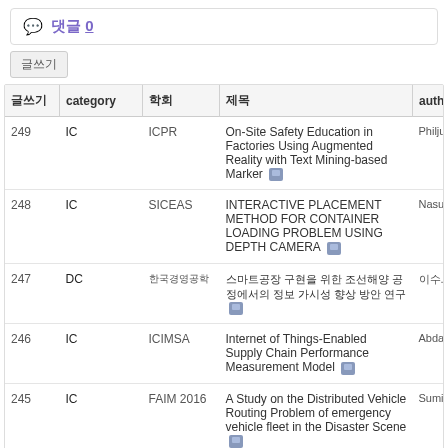댓글 0
| 번호 | category | 학회 | 제목 | auth |
| --- | --- | --- | --- | --- |
| 249 | IC | ICPR | On-Site Safety Education in Factories Using Augmented Reality with Text Mining-based Marker | Philju... |
| 248 | IC | SICEAS | INTERACTIVE PLACEMENT METHOD FOR CONTAINER LOADING PROBLEM USING DEPTH CAMERA | Nasut... |
| 247 | DC | [Korean] | [Korean text] | [Korean] |
| 246 | IC | ICIMSA | Internet of Things-Enabled Supply Chain Performance Measurement Model | Abdal... |
| 245 | IC | FAIM 2016 | A Study on the Distributed Vehicle Routing Problem of emergency vehicle fleet in the Disaster Scene | Sumir... |